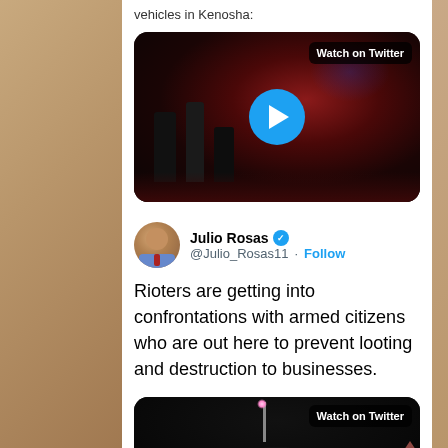vehicles in Kenosha:
[Figure (screenshot): Twitter video embed showing protesters on a dark street in Kenosha with red and blue police lights, with a blue play button and 'Watch on Twitter' badge]
Julio Rosas @Julio_Rosas11 · Follow
Rioters are getting into confrontations with armed citizens who are out here to prevent looting and destruction to businesses.
[Figure (screenshot): Twitter video embed showing a dark street scene at night with a streetlight, with 'Watch on Twitter' badge]